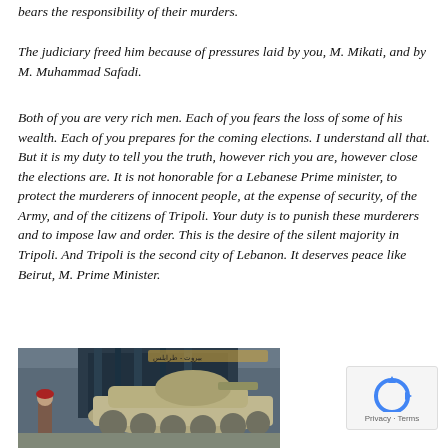bears the responsibility of their murders.
The judiciary freed him because of pressures laid by you, M. Mikati, and by M. Muhammad Safadi.
Both of you are very rich men. Each of you fears the loss of some of his wealth. Each of you prepares for the coming elections. I understand all that. But it is my duty to tell you the truth, however rich you are, however close the elections are. It is not honorable for a Lebanese Prime minister, to protect the murderers of innocent people, at the expense of security, of the Army, and of the citizens of Tripoli. Your duty is to punish these murderers and to impose law and order. This is the desire of the silent majority in Tripoli. And Tripoli is the second city of Lebanon. It deserves peace like Beirut, M. Prime Minister.
[Figure (photo): A military armored vehicle with soldiers, street scene in what appears to be a Middle Eastern city]
[Figure (other): reCAPTCHA widget showing rotating arrows logo with Privacy and Terms links]